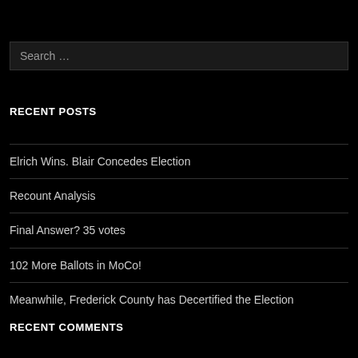Search …
RECENT POSTS
Elrich Wins. Blair Concedes Election
Recount Analysis
Final Answer? 35 votes
102 More Ballots in MoCo!
Meanwhile, Frederick County has Decertified the Election
RECENT COMMENTS